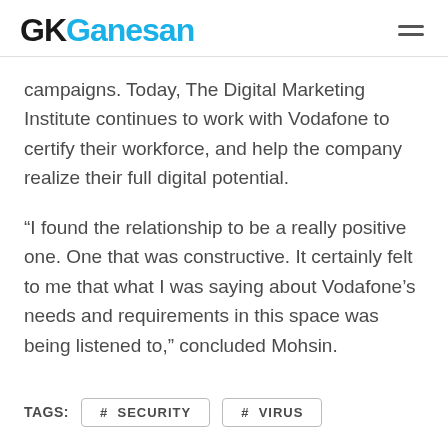GKGanesan
campaigns. Today, The Digital Marketing Institute continues to work with Vodafone to certify their workforce, and help the company realize their full digital potential.
“I found the relationship to be a really positive one. One that was constructive. It certainly felt to me that what I was saying about Vodafone’s needs and requirements in this space was being listened to,” concluded Mohsin.
TAGS:  # SECURITY  # VIRUS